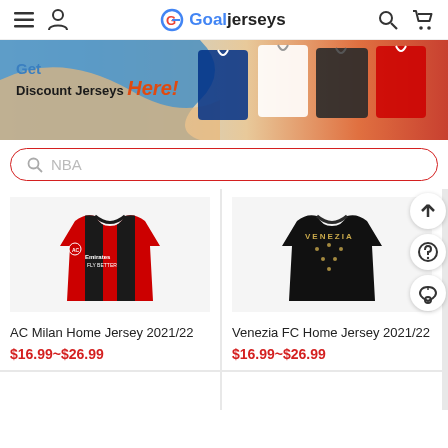Goaljerseys — navigation header with menu, account, search, and cart icons
[Figure (screenshot): Promotional banner: 'Get Discount Jerseys Here!' with colorful football jerseys on the right]
Get Discount Jerseys Here!
[Figure (screenshot): Search bar with placeholder text 'NBA']
[Figure (photo): AC Milan Home Jersey 2021/22 — red and black striped Puma jersey with Emirates Fly Better sponsor]
AC Milan Home Jersey 2021/22
$16.99~$26.99
[Figure (photo): Venezia FC Home Jersey 2021/22 — black jersey with gold Venezia text and Kappa logo]
Venezia FC Home Jersey 2021/22
$16.99~$26.99